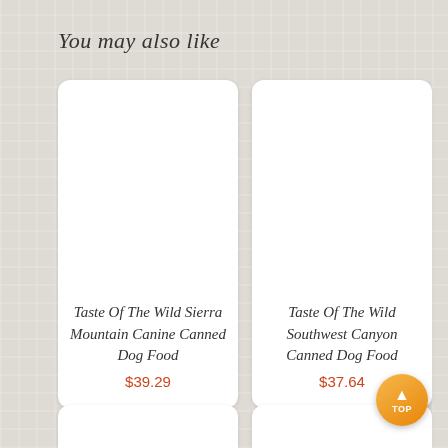You may also like
[Figure (other): Product card for Taste Of The Wild Sierra Mountain Canine Canned Dog Food, blank white card with product name and price]
Taste Of The Wild Sierra Mountain Canine Canned Dog Food
$39.29
[Figure (other): Product card for Taste Of The Wild Southwest Canyon Canned Dog Food, blank white card with product name and price]
Taste Of The Wild Southwest Canyon Canned Dog Food
$37.64